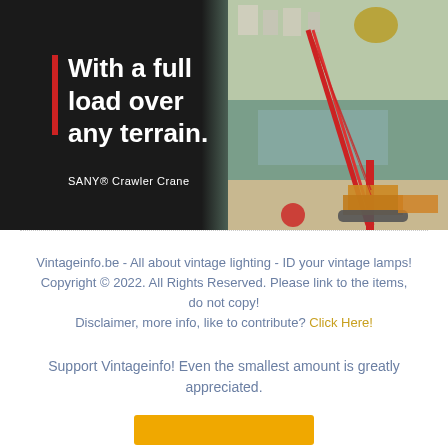[Figure (photo): SANY Crawler Crane advertisement image. Left side dark/black background with white bold text 'With a full load over any terrain.' and subtext 'SANY® Crawler Crane'. A red vertical bar accent on the left. Right side shows an aerial photo of a red crawler crane at a construction site near a river.]
Vintageinfo.be - All about vintage lighting - ID your vintage lamps!
Copyright © 2022. All Rights Reserved. Please link to the items, do not copy!
Disclaimer, more info, like to contribute? Click Here!
Support Vintageinfo! Even the smallest amount is greatly appreciated.